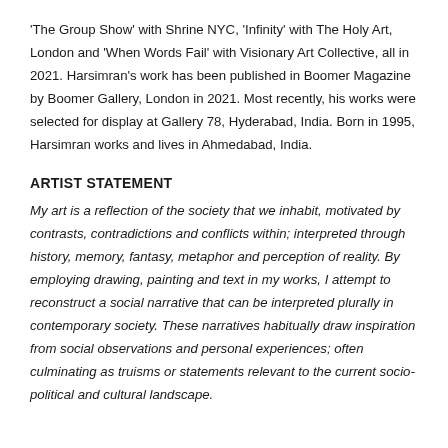'The Group Show' with Shrine NYC, 'Infinity' with The Holy Art, London and 'When Words Fail' with Visionary Art Collective, all in 2021. Harsimran's work has been published in Boomer Magazine by Boomer Gallery, London in 2021. Most recently, his works were selected for display at Gallery 78, Hyderabad, India. Born in 1995, Harsimran works and lives in Ahmedabad, India.
ARTIST STATEMENT
My art is a reflection of the society that we inhabit, motivated by contrasts, contradictions and conflicts within; interpreted through history, memory, fantasy, metaphor and perception of reality. By employing drawing, painting and text in my works, I attempt to reconstruct a social narrative that can be interpreted plurally in contemporary society. These narratives habitually draw inspiration from social observations and personal experiences; often culminating as truisms or statements relevant to the current socio-political and cultural landscape.